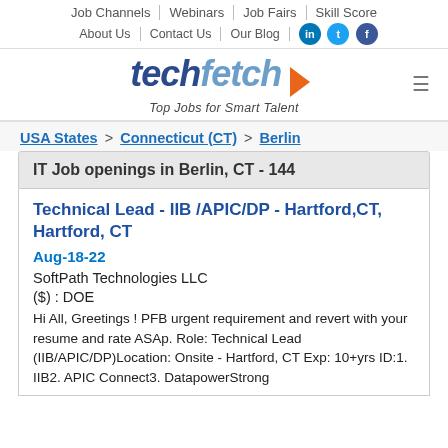Job Channels | Webinars | Job Fairs | Skill Score | About Us | Contact Us | Our Blog
[Figure (logo): Techfetch logo with tagline 'Top Jobs for Smart Talent' and orange chevron arrow]
USA States > Connecticut (CT) > Berlin
IT Job openings in Berlin, CT - 144
Technical Lead - IIB /APIC/DP - Hartford,CT, Hartford, CT
Aug-18-22
SoftPath Technologies LLC
($) : DOE
Hi All, Greetings ! PFB urgent requirement and revert with your resume and rate ASAp. Role: Technical Lead (IIB/APIC/DP)Location: Onsite - Hartford, CT Exp: 10+yrs ID:1. IIB2. APIC Connect3. DatapowerStrong